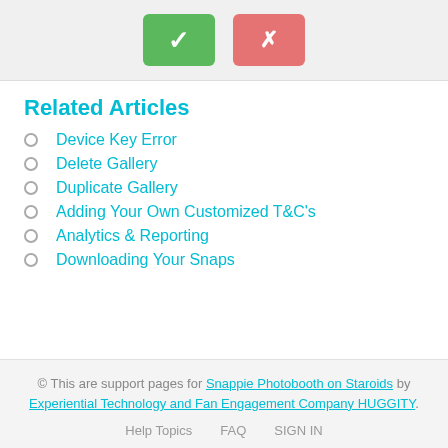[Figure (screenshot): Two buttons: a green checkmark button and a red/pink X button]
Related Articles
Device Key Error
Delete Gallery
Duplicate Gallery
Adding Your Own Customized T&C's
Analytics & Reporting
Downloading Your Snaps
© This are support pages for Snappie Photobooth on Staroids by Experiential Technology and Fan Engagement Company HUGGITY.
Help Topics   FAQ   SIGN IN